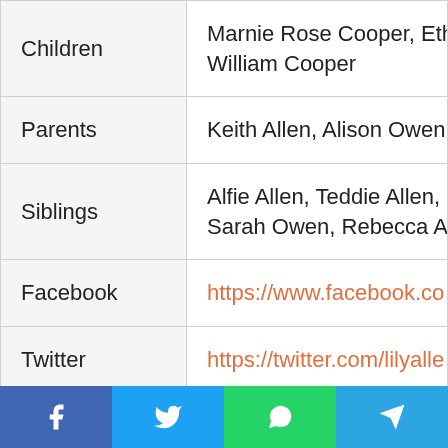| Field | Value |
| --- | --- |
| Children | Marnie Rose Cooper, Eth William Cooper |
| Parents | Keith Allen, Alison Owen |
| Siblings | Alfie Allen, Teddie Allen, Sarah Owen, Rebecca A |
| Facebook | https://www.facebook.co |
| Twitter | https://twitter.com/lilyalle |
| Instagram | https://www.instagram.co |
| MySpace | https://myspace.com/lilym |
| IMDB | http://www.imdb.com/nam |
|  | http://... |